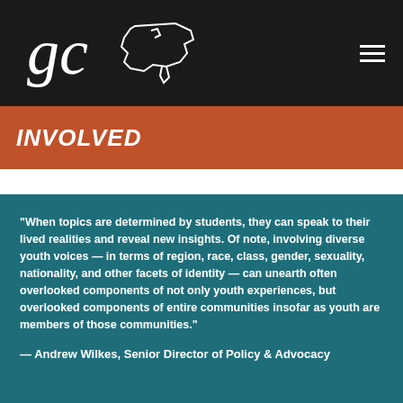[Figure (logo): gc logo with outline of USA map in white on dark background]
INVOLVED
“When topics are determined by students, they can speak to their lived realities and reveal new insights. Of note, involving diverse youth voices — in terms of region, race, class, gender, sexuality, nationality, and other facets of identity — can unearth often overlooked components of not only youth experiences, but overlooked components of entire communities insofar as youth are members of those communities.”
— Andrew Wilkes, Senior Director of Policy & Advocacy